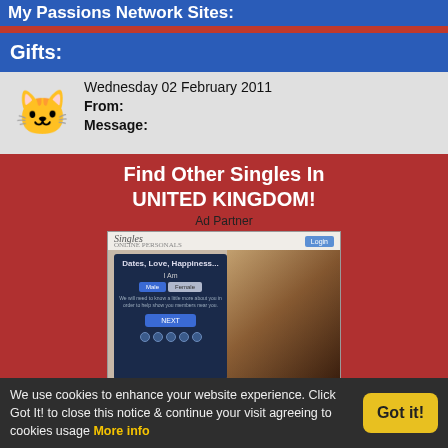My Passions Network Sites:
Gifts:
Wednesday 02 February 2011
From:
Message:
[Figure (illustration): Orange cat emoji holding a pink heart, on a light gray background]
Find Other Singles In UNITED KINGDOM!
Ad Partner
[Figure (screenshot): Singles Online Personals website screenshot showing a couple and a signup form with I Am, Male/Female buttons, and NEXT button]
We use cookies to enhance your website experience. Click Got It! to close this notice & continue your visit agreeing to cookies usage  More info
Got it!